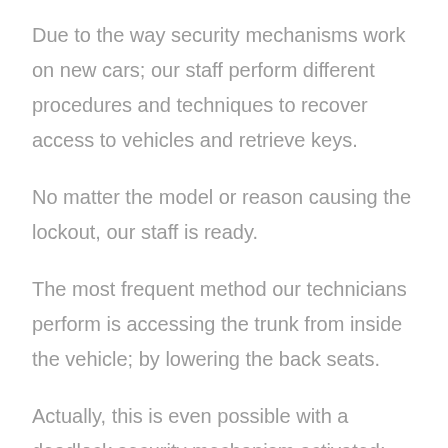Due to the way security mechanisms work on new cars; our staff perform different procedures and techniques to recover access to vehicles and retrieve keys.
No matter the model or reason causing the lockout, our staff is ready.
The most frequent method our technicians perform is accessing the trunk from inside the vehicle; by lowering the back seats.
Actually, this is even possible with a deadlock security mechanism activated; since our staff is certified and